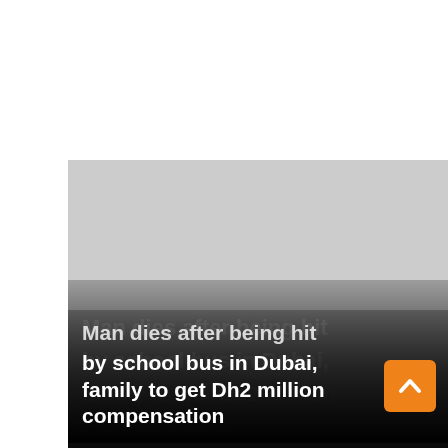[Figure (photo): News article thumbnail image showing a school bus scene with a dark gradient overlay at the bottom containing white bold headline text: 'Man dies after being hit by school bus in Dubai, family to get Dh2 million compensation'. An orange scroll-to-top button with a chevron arrow is visible in the bottom-right corner.]